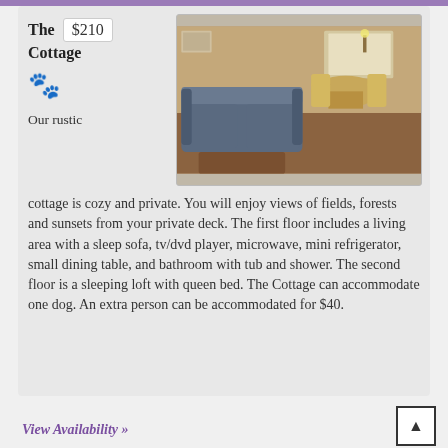The Cottage $210
[Figure (photo): Interior photo of a cottage showing a grey sofa/couch in the foreground, a wooden coffee table, and a small dining table with chairs in the background near a window.]
Our rustic cottage is cozy and private. You will enjoy views of fields, forests and sunsets from your private deck. The first floor includes a living area with a sleep sofa, tv/dvd player, microwave, mini refrigerator, small dining table, and bathroom with tub and shower. The second floor is a sleeping loft with queen bed. The Cottage can accommodate one dog.  An extra person can be accommodated for $40.
View Availability »